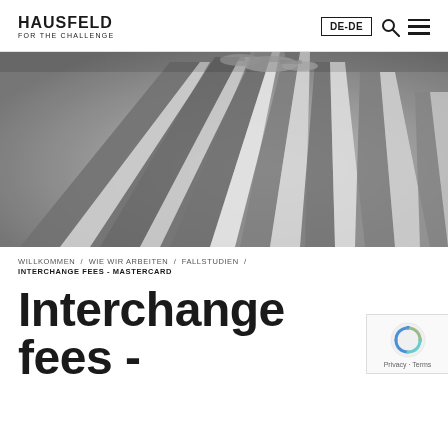HAUSFELD FOR THE CHALLENGE | DE-DE | Search | Menu
[Figure (photo): Upward-angle black and white photograph of tall classical stone columns with ornate capitals, viewed from below against a light sky.]
WILLKOMMEN / WIE WIR ARBEITEN / FALLSTUDIEN / INTERCHANGE FEES - MASTERCARD
Interchange fees -